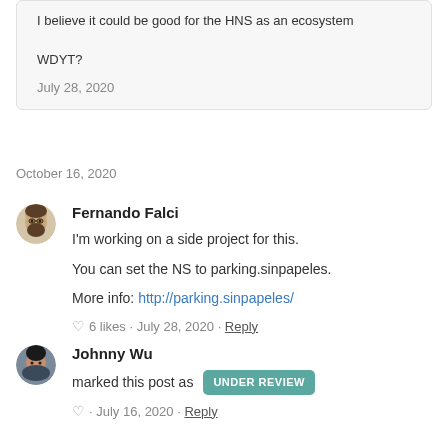I believe it could be good for the HNS as an ecosystem

WDYT?

July 28, 2020
October 16, 2020
Fernando Falci
I'm working on a side project for this.

You can set the NS to parking.sinpapeles.

More info: http://parking.sinpapeles/
6 likes · July 28, 2020 · Reply
Johnny Wu
marked this post as UNDER REVIEW
· July 16, 2020 · Reply